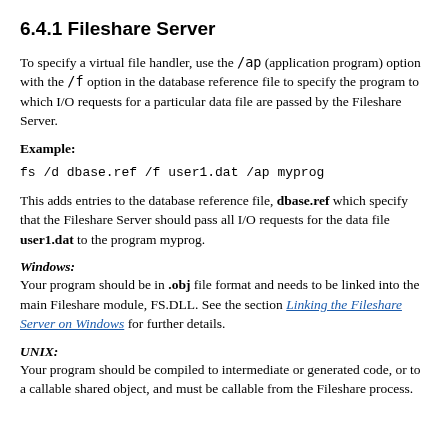6.4.1 Fileshare Server
To specify a virtual file handler, use the /ap (application program) option with the /f option in the database reference file to specify the program to which I/O requests for a particular data file are passed by the Fileshare Server.
Example:
fs /d dbase.ref /f user1.dat /ap myprog
This adds entries to the database reference file, dbase.ref which specify that the Fileshare Server should pass all I/O requests for the data file user1.dat to the program myprog.
Windows:
Your program should be in .obj file format and needs to be linked into the main Fileshare module, FS.DLL. See the section Linking the Fileshare Server on Windows for further details.
UNIX:
Your program should be compiled to intermediate or generated code, or to a callable shared object, and must be callable from the Fileshare process.